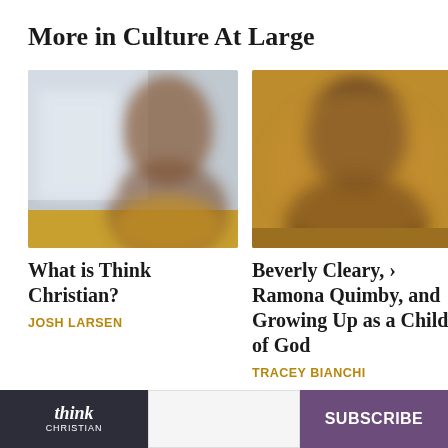More in Culture At Large
[Figure (photo): Blurry photo of a person with light/blue background, yellow-orange accents at bottom]
What is Think Christian?
JOSH LARSEN
[Figure (photo): Blurry photo of a person with warm golden/orange background]
Beverly Cleary, Ramona Quimby, and Growing Up as a Child of God
TRACEY BIANCHI
[Figure (logo): Think Christian logo — dark background with italic 'think' and 'CHRISTIAN' text in white]
SUBSCRIBE